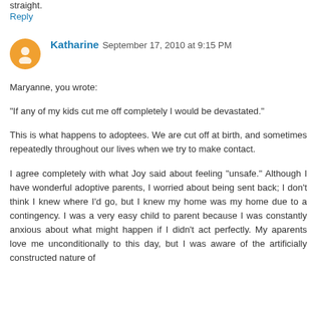straight.
Reply
Katharine  September 17, 2010 at 9:15 PM
Maryanne, you wrote:

"If any of my kids cut me off completely I would be devastated."

This is what happens to adoptees. We are cut off at birth, and sometimes repeatedly throughout our lives when we try to make contact.

I agree completely with what Joy said about feeling "unsafe." Although I have wonderful adoptive parents, I worried about being sent back; I don't think I knew where I'd go, but I knew my home was my home due to a contingency. I was a very easy child to parent because I was constantly anxious about what might happen if I didn't act perfectly. My aparents love me unconditionally to this day, but I was aware of the artificially constructed nature of